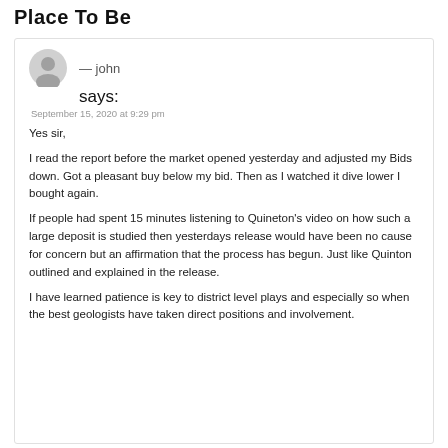Place To Be
— john
says:
September 15, 2020 at 9:29 pm
Yes sir,
I read the report before the market opened yesterday and adjusted my Bids down. Got a pleasant buy below my bid. Then as I watched it dive lower I bought again.
If people had spent 15 minutes listening to Quineton’s video on how such a large deposit is studied then yesterdays release would have been no cause for concern but an affirmation that the process has begun. Just like Quinton outlined and explained in the release.
I have learned patience is key to district level plays and especially so when the best geologists have taken direct positions and involvement.